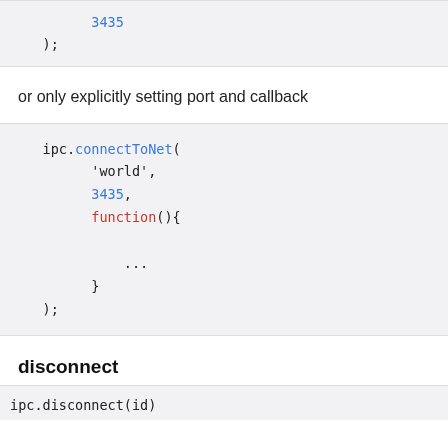3435
    );
or only explicitly setting port and callback
ipc.connectToNet(
        'world',
        3435,
        function(){

            ...
        }
    );
disconnect
ipc.disconnect(id)